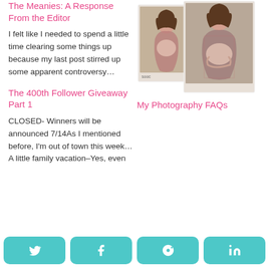The Meanies: A Response From the Editor
I felt like I needed to spend a little time clearing some things up because my last post stirred up some apparent controversy…
[Figure (photo): Two polaroid-style photos of a pregnant woman in a plaid shirt holding her baby bump]
My Photography FAQs
The 400th Follower Giveaway Part 1
CLOSED- Winners will be announced 7/14As I mentioned before, I'm out of town this week… A little family vacation–Yes, even
Twitter | Facebook | Pinterest | LinkedIn